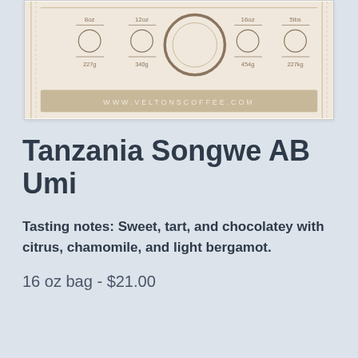[Figure (illustration): Bottom portion of a coffee product label in beige/tan tones showing size selection circles (8oz/227g, 12oz/340g, 16oz/454g, 5lbs/227kg) with a large circle in the center, and website www.veltonscoffee.com at the bottom, with decorative zigzag border.]
Tanzania Songwe AB Umi
Tasting notes: Sweet, tart, and chocolatey with citrus, chamomile, and light bergamot.
16 oz bag - $21.00